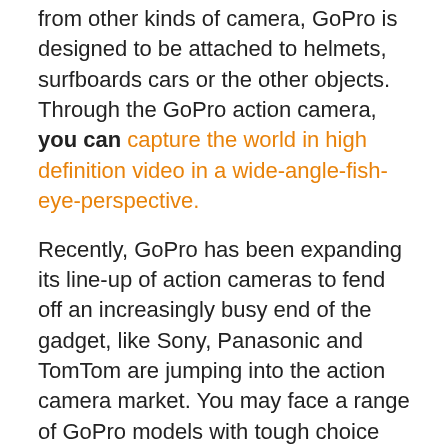from other kinds of camera, GoPro is designed to be attached to helmets, surfboards cars or the other objects. Through the GoPro action camera, you can capture the world in high definition video in a wide-angle-fish-eye-perspective.
Recently, GoPro has been expanding its line-up of action cameras to fend off an increasingly busy end of the gadget, like Sony, Panasonic and TomTom are jumping into the action camera market. You may face a range of GoPro models with tough choice when it comes to picking the right camera for your needs and have no ideas on which GoPro should get.